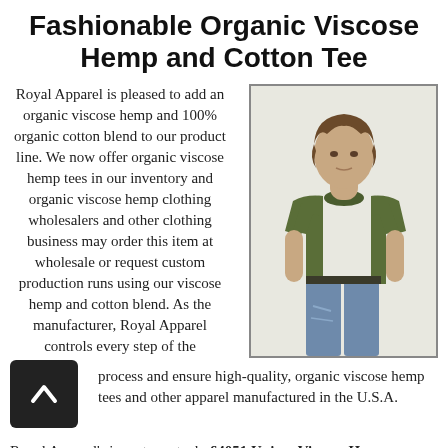Fashionable Organic Viscose Hemp and Cotton Tee
Royal Apparel is pleased to add an organic viscose hemp and 100% organic cotton blend to our product line. We now offer organic viscose hemp tees in our inventory and organic viscose hemp clothing wholesalers and other clothing business may order this item at wholesale or request custom production runs using our viscose hemp and cotton blend. As the manufacturer, Royal Apparel controls every step of the production process and ensure high-quality, organic viscose hemp tees and other apparel manufactured in the U.S.A.
[Figure (photo): A young man wearing an olive/army green short-sleeve t-shirt and ripped jeans, standing against a white background. Product photo for Royal Apparel organic viscose hemp tee.]
Royal Apparel's inventory stock, 64051 Unisex Viscose Hemp